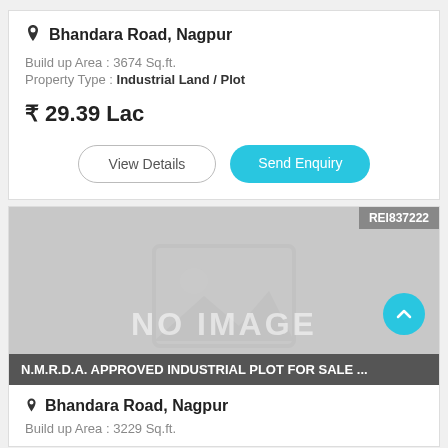Bhandara Road, Nagpur
Build up Area : 3674 Sq.ft.
Property Type : Industrial Land / Plot
₹ 29.39 Lac
View Details
Send Enquiry
[Figure (photo): No image placeholder with mountain icon, REI837222 badge, listing title bar reading 'N.M.R.D.A. APPROVED INDUSTRIAL PLOT FOR SALE ...' and scroll-up button]
REI837222
N.M.R.D.A. APPROVED INDUSTRIAL PLOT FOR SALE ...
Bhandara Road, Nagpur
Build up Area : 3229 Sq.ft.